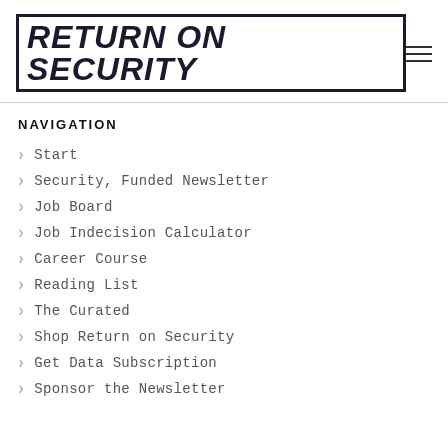Return on Security
NAVIGATION
Start
Security, Funded Newsletter
Job Board
Job Indecision Calculator
Career Course
Reading List
The Curated
Shop Return on Security
Get Data Subscription
Sponsor the Newsletter